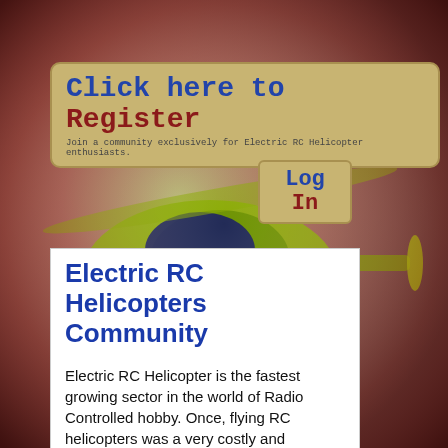[Figure (photo): Background image of a green electric RC helicopter against a red wall, with blurred vignette effect]
[Figure (infographic): Tan/khaki rounded banner with text 'Click here to Register' in blue and red monospace font, with subtitle 'Join a community exclusively for Electric RC Helicopter enthusiasts.']
[Figure (infographic): Tan/khaki square button with 'Log In' text, 'Log' in blue and 'In' in red monospace font]
Electric RC Helicopters Community
Electric RC Helicopter is the fastest growing sector in the world of Radio Controlled hobby. Once, flying RC helicopters was a very costly and